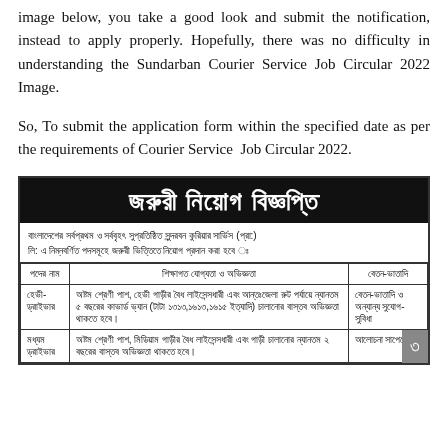image below, you take a good look and submit the notification, instead to apply properly. Hopefully, there was no difficulty in understanding the Sundarban Courier Service Job Circular 2022 Image.
So, To submit the application form within the specified date as per the requirements of Courier Service Job Circular 2022.
[Figure (other): Sundarban Courier Service job circular notice in Bengali, with header 'জরুরী নিয়োগ বিজ্ঞপ্তি' (Urgent Recruitment Notice) on black background, followed by introductory text and a table with columns for post name, educational qualification/experience, and salary/allowances. Rows include Heavy Driver and Medium Driver positions.]